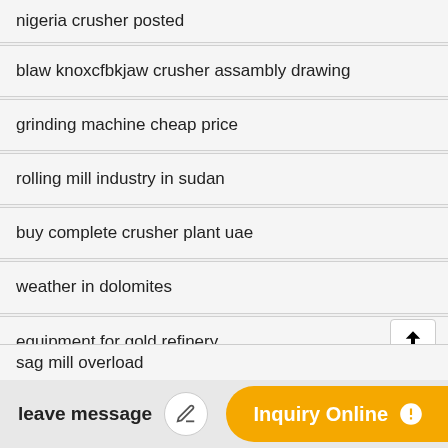nigeria crusher posted
blaw knoxcfbkjaw crusher assambly drawing
grinding machine cheap price
rolling mill industry in sudan
buy complete crusher plant uae
weather in dolomites
equipment for gold refinery
mining widely use heavy machinery flotation machine
sag mill overload
leave message
Inquiry Online